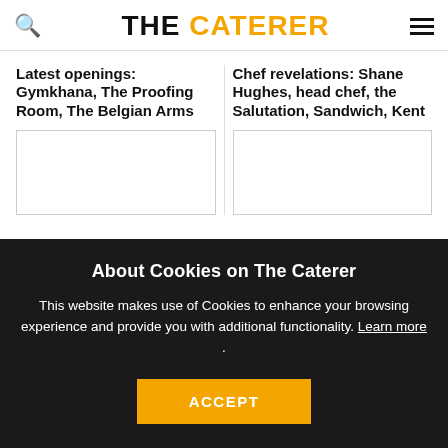THE CATERER
Latest openings: Gymkhana, The Proofing Room, The Belgian Arms
[Figure (photo): Article image placeholder for Latest openings]
Chef revelations: Shane Hughes, head chef, the Salutation, Sandwich, Kent
[Figure (photo): Article image placeholder for Chef revelations]
About Cookies on The Caterer
This website makes use of Cookies to enhance your browsing experience and provide you with additional functionality. Learn more .
ACCEPT